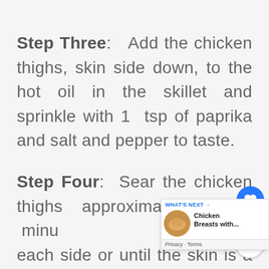Step Three: Add the chicken thighs, skin side down, to the hot oil in the skillet and sprinkle with 1 tsp of paprika and salt and pepper to taste.
Step Four: Sear the chicken thighs approximately 3-4 minutes each side or until the skin is a bit...